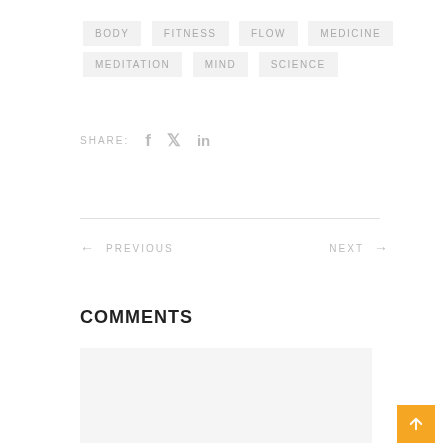BODY
FITNESS
FLOW
MEDICINE
MEDITATION
MIND
SCIENCE
SHARE:
← PREVIOUS    NEXT →
COMMENTS